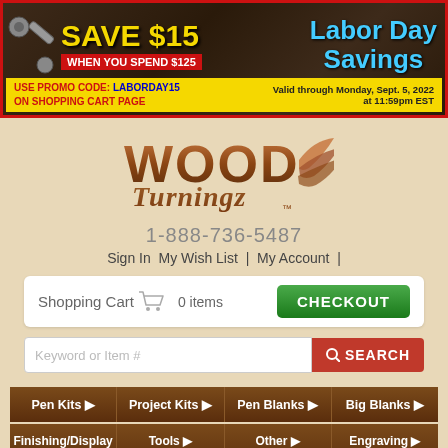[Figure (infographic): Labor Day Savings promotional banner: Save $15 when you spend $125, use promo code LABORDAY15 on shopping cart page. Valid through Monday, Sept. 5, 2022 at 11:59pm EST.]
[Figure (logo): Wood Turningz logo with TM mark, decorative script and wing/flame design]
1-888-736-5487
Sign In  My Wish List |  My Account |
Shopping Cart  0 items   CHECKOUT
Keyword or Item #   SEARCH
Pen Kits ▶   Project Kits ▶   Pen Blanks ▶   Big Blanks ▶
Finishing/Display ▶   Tools ▶   Other ▶   Engraving ▶